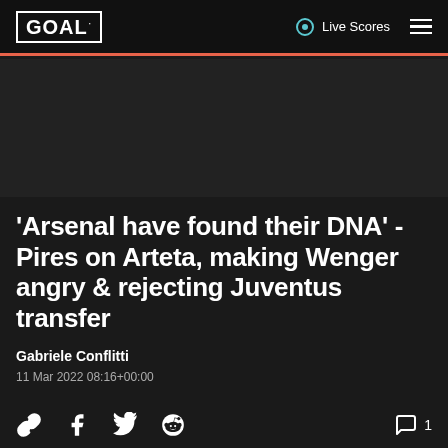GOAL · Live Scores
[Figure (photo): Dark image/placeholder area below the header]
'Arsenal have found their DNA' - Pires on Arteta, making Wenger angry & rejecting Juventus transfer
Gabriele Conflitti
11 Mar 2022 08:16+00:00
[Figure (infographic): Social share icons: link, Facebook, Twitter, Reddit; comment icon with count 1]